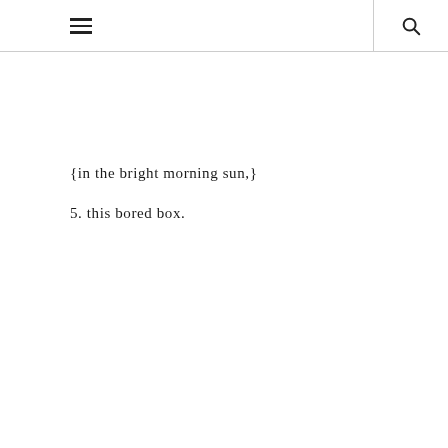☰  🔍
{in the bright morning sun,}
5. this bored box.